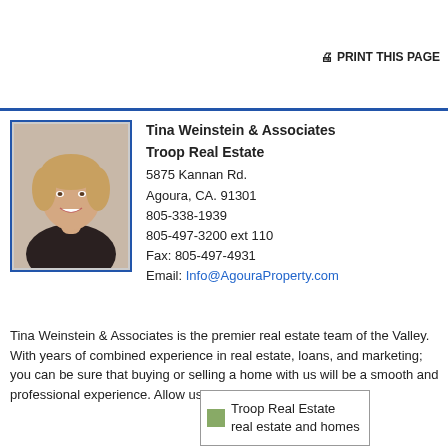🖨 PRINT THIS PAGE
[Figure (photo): Headshot photo of Tina Weinstein, a woman with short blonde hair, smiling, wearing a dark jacket. Photo has a blue border frame.]
Tina Weinstein & Associates
Troop Real Estate
5875 Kannan Rd.
Agoura, CA. 91301
805-338-1939
805-497-3200 ext 110
Fax: 805-497-4931
Email: Info@AgouraProperty.com
Tina Weinstein & Associates is the premier real estate team of the Valley. With years of combined experience in real estate, loans, and marketing; you can be sure that buying or selling a home with us will be a smooth and professional experience. Allow us to show you Agoura
[Figure (logo): Troop Real Estate logo with small image icon, text reads 'Troop Real Estate real estate and homes']